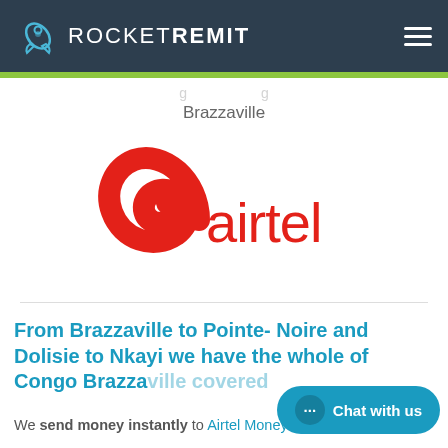ROCKETREMIT
Brazzaville
[Figure (logo): Airtel logo with red swoosh symbol and 'airtel' text in red]
From Brazzaville to Pointe- Noire and Dolisie to Nkayi we have the whole of Congo Brazzaville covered
We send money instantly to Airtel Money mobile...